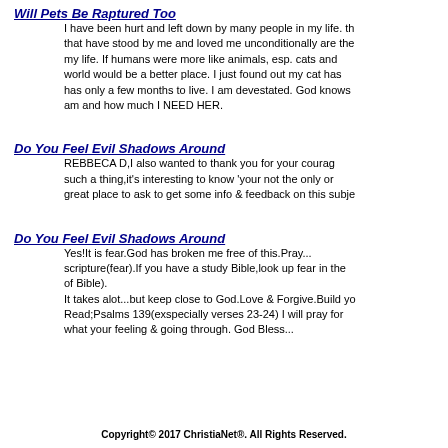Will Pets Be Raptured Too
I have been hurt and left down by many people in my life. the that have stood by me and loved me unconditionally are the my life. If humans were more like animals, esp. cats and world would be a better place. I just found out my cat has has only a few months to live. I am devestated. God knows am and how much I NEED HER.
Do You Feel Evil Shadows Around
REBBECA D,I also wanted to thank you for your courag such a thing,it's interesting to know 'your not the only or great place to ask to get some info & feedback on this subje
Do You Feel Evil Shadows Around
Yes!It is fear.God has broken me free of this.Pray... scripture(fear).If you have a study Bible,look up fear in the of Bible). It takes alot...but keep close to God.Love & Forgive.Build yo Read;Psalms 139(exspecially verses 23-24) I will pray for what your feeling & going through. God Bless...
Copyright© 2017 ChristiaNet®. All Rights Reserved.